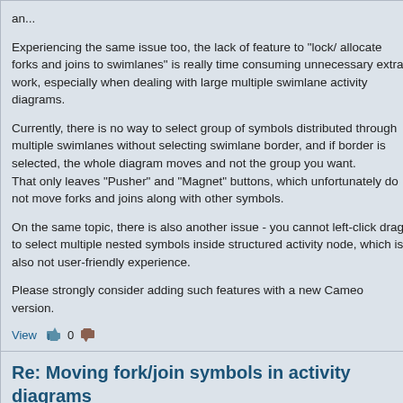...
Experiencing the same issue too, the lack of feature to "lock/ allocate forks and joins to swimlanes" is really time consuming unnecessary extra work, especially when dealing with large multiple swimlane activity diagrams.

Currently, there is no way to select group of symbols distributed through multiple swimlanes without selecting swimlane border, and if border is selected, the whole diagram moves and not the group you want.
That only leaves "Pusher" and "Magnet" buttons, which unfortunately do not move forks and joins along with other symbols.

On the same topic, there is also another issue - you cannot left-click drag to select multiple nested symbols inside structured activity node, which is also not user-friendly experience.

Please strongly consider adding such features with a new Cameo version.
View  0
Re: Moving fork/join symbols in activity diagrams
by jihouni20@gmail.com » Tue May 17, 2022 1:48 am
A Fork notation in a UML Activity Diagram is a control node that splits a flow into multiple concurrent flows. This will have one incoming edge and multiple outgoing edges. A join node is a control node that synchronizes multiple flows. Thi...